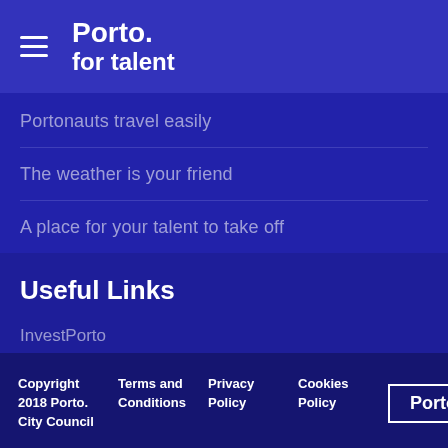Porto. for talent
Portonauts travel easily
The weather is your friend
A place for your talent to take off
Useful Links
InvestPorto
Copyright 2018 Porto. City Council   Terms and Conditions   Privacy Policy   Cookies Policy   Porto.